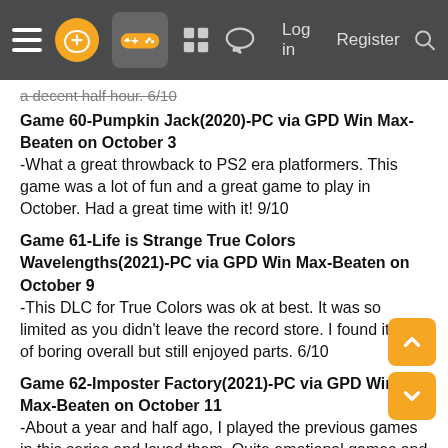Navigation bar with menu, logo, controller icon, grid icon, chat icon, Log in, Register, Search
a decent half hour. 6/10
Game 60-Pumpkin Jack(2020)-PC via GPD Win Max-Beaten on October 3
-What a great throwback to PS2 era platformers. This game was a lot of fun and a great game to play in October. Had a great time with it! 9/10
Game 61-Life is Strange True Colors Wavelengths(2021)-PC via GPD Win Max-Beaten on October 9
-This DLC for True Colors was ok at best. It was so limited as you didn't leave the record store. I found it kind of boring overall but still enjoyed parts. 6/10
Game 62-Imposter Factory(2021)-PC via GPD Win Max-Beaten on October 11
-About a year and half ago, I played the previous games in this series and loved them. Quite emotional games and this one is the same. I really enjoyed it. 9/10